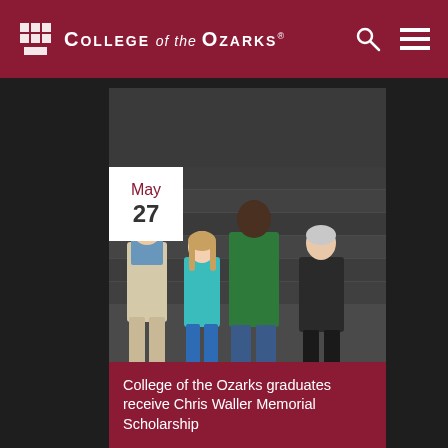College of the Ozarks
[Figure (photo): Four people posing together in front of a dark wooden wall backdrop. From left: older man in khaki pants and beige vest over blue polo, young woman in teal shirt, tall young man in green hoodie and jeans, older woman in black jacket.]
May 27
College of the Ozarks graduates receive Chris Waller Memorial Scholarship